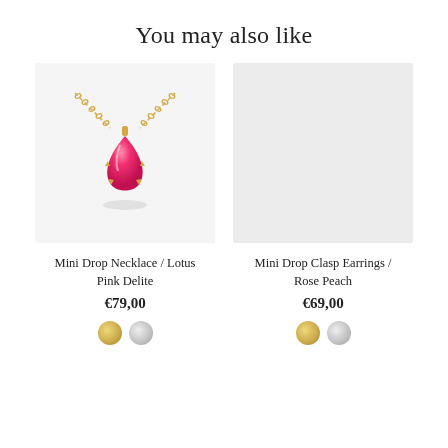You may also like
[Figure (photo): Mini Drop Necklace with pink teardrop crystal pendant on gold chain, shown on white/light background]
Mini Drop Necklace / Lotus Pink Delite
€79,00
[Figure (photo): Mini Drop Clasp Earrings / Rose Peach — image appears blank/loading on light gray background]
Mini Drop Clasp Earrings / Rose Peach
€69,00